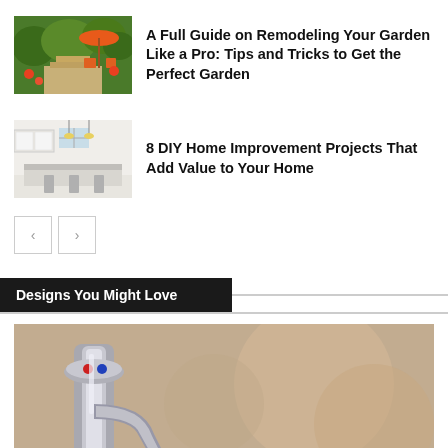[Figure (photo): Colorful garden with orange umbrellas and lush green plants, outdoor stairway]
A Full Guide on Remodeling Your Garden Like a Pro: Tips and Tricks to Get the Perfect Garden
[Figure (photo): Modern white kitchen interior with island and pendant lights]
8 DIY Home Improvement Projects That Add Value to Your Home
< >
Designs You Might Love
[Figure (photo): Close-up of a chrome water faucet with red and blue indicators on a blurred beige background]